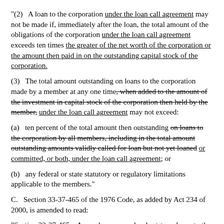"(2)   A loan to the corporation under the loan call agreement may not be made if, immediately after the loan, the total amount of the obligations of the corporation under the loan call agreement exceeds ten times the greater of the net worth of the corporation or the amount then paid in on the outstanding capital stock of the corporation.
(3)   The total amount outstanding on loans to the corporation made by a member at any one time, [strikethrough: when added to the amount of the investment in capital stock of the corporation then held by the member,] under the loan call agreement may not exceed:
(a)   ten percent of the total amount then outstanding [strikethrough: on loans to the corporation by all members, including in the total amount outstanding amounts validly called for loan but not yet loaned] or committed, or both, under the loan call agreement; or
(b)   any federal or state statutory or regulatory limitations applicable to the members."
C.   Section 33-37-465 of the 1976 Code, as added by Act 234 of 2000, is amended to read:
"Section 33-37-465.   A member may make short-term loans to the corporation independently of the loan calls made pursuant to